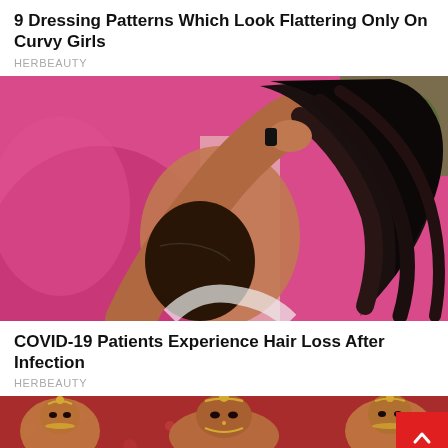9 Dressing Patterns Which Look Flattering Only On Curvy Girls
HERBEAUTY
[Figure (photo): Woman styling her long dark wavy hair, raised arms, photographed from behind against a pink background]
COVID-19 Patients Experience Hair Loss After Infection
HERBEAUTY
[Figure (photo): Bridal women in traditional Indian attire with elaborate jewelry and headdresses]